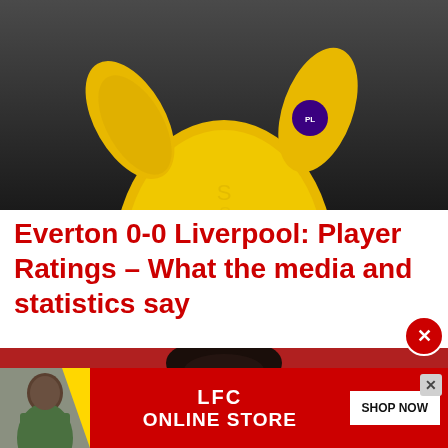[Figure (photo): A football player wearing a bright yellow long-sleeve jersey with a Premier League badge on the sleeve. The player's arms are raised. Dark blurred background.]
Everton 0-0 Liverpool: Player Ratings – What the media and statistics say
[Figure (photo): A young Black male footballer with short curly hair, wearing a red jersey, photographed from shoulders up. The background is a blurred red stadium scene.]
[Figure (photo): Advertisement banner: LFC Online Store promotional banner in red with a yellow accent slash. Shows a man in a green patterned jacket. Text: LFC ONLINE STORE, SHOP NOW button, and X close button.]